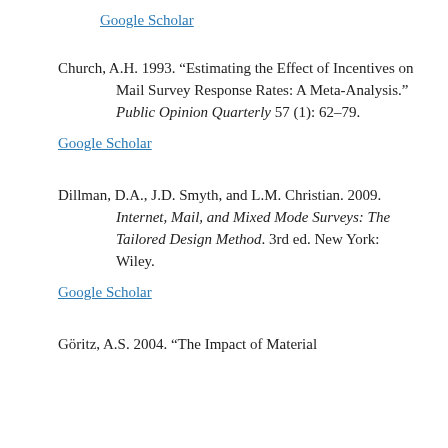Google Scholar
Church, A.H. 1993. “Estimating the Effect of Incentives on Mail Survey Response Rates: A Meta-Analysis.” Public Opinion Quarterly 57 (1): 62–79.
Google Scholar
Dillman, D.A., J.D. Smyth, and L.M. Christian. 2009. Internet, Mail, and Mixed Mode Surveys: The Tailored Design Method. 3rd ed. New York: Wiley.
Google Scholar
Göritz, A.S. 2004. “The Impact of Material